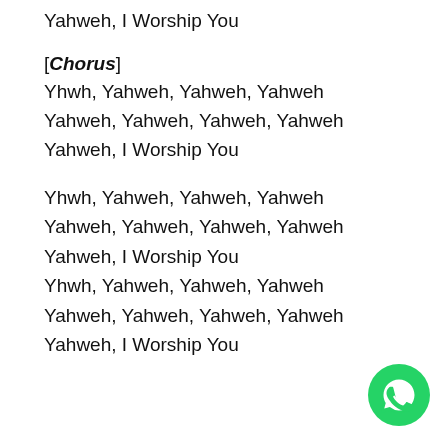Yahweh, I Worship You
[Chorus]
Yhwh, Yahweh, Yahweh, Yahweh
Yahweh, Yahweh, Yahweh, Yahweh
Yahweh, I Worship You
Yhwh, Yahweh, Yahweh, Yahweh
Yahweh, Yahweh, Yahweh, Yahweh
Yahweh, I Worship You
Yhwh, Yahweh, Yahweh, Yahweh
Yahweh, Yahweh, Yahweh, Yahweh
Yahweh, I Worship You
[Figure (logo): WhatsApp green circle logo]